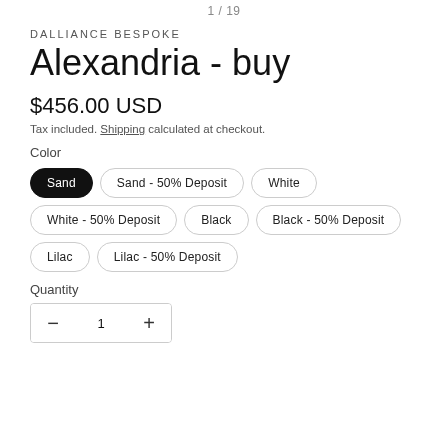1 / 19
DALLIANCE BESPOKE
Alexandria - buy
$456.00 USD
Tax included. Shipping calculated at checkout.
Color
Sand
Sand - 50% Deposit
White
White - 50% Deposit
Black
Black - 50% Deposit
Lilac
Lilac - 50% Deposit
Quantity
1